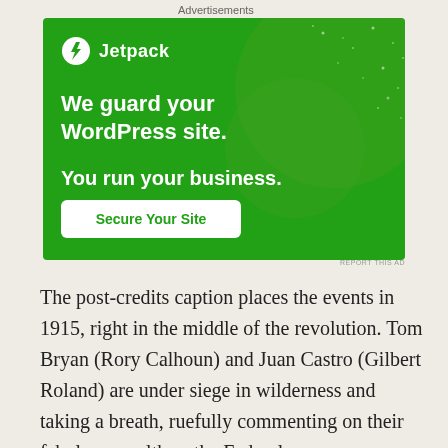Advertisements
[Figure (other): Jetpack advertisement banner on green background with decorative circles and dot pattern. Text reads: 'We guard your WordPress site. You run your business.' with a 'Secure Your Site' button.]
The post-credits caption places the events in 1915, right in the middle of the revolution. Tom Bryan (Rory Calhoun) and Juan Castro (Gilbert Roland) are under siege in wilderness and taking a breath, ruefully commenting on their fabulous wealth as the Federales creep ever nearer. Somewhat paradoxically, we find